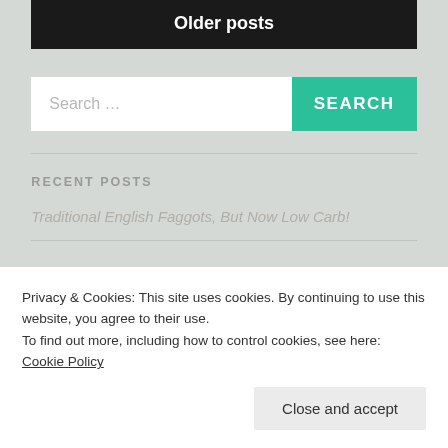Older posts
[Figure (screenshot): Search bar with text 'Search ...' on white background and a teal 'SEARCH' button on the right.]
RECENT POSTS
Traditional English Faggots, But Now Low Carb!
Privacy & Cookies: This site uses cookies. By continuing to use this website, you agree to their use.
To find out more, including how to control cookies, see here: Cookie Policy
Close and accept